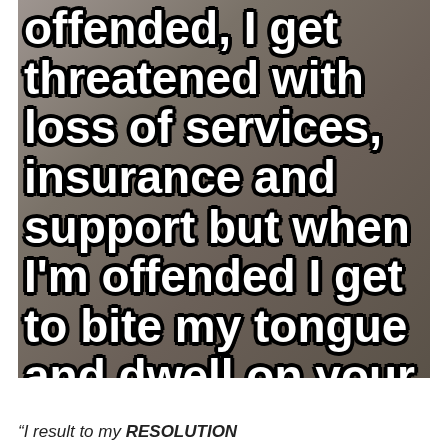[Figure (photo): Bathroom mirror selfie scene with large bold white text overlaid reading: 'offended, I get threatened with loss of services, insurance and support but when I'm offended I get to bite my tongue and dwell on your nonsense nonstop?']
“I result to my RESOLUTION